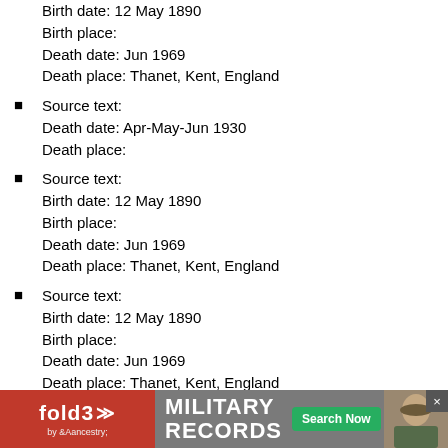Birth date: 12 May 1890
Birth place:
Death date: Jun 1969
Death place: Thanet, Kent, England
Source text:
Death date: Apr-May-Jun 1930
Death place:
Source text:
Birth date: 12 May 1890
Birth place:
Death date: Jun 1969
Death place: Thanet, Kent, England
Source text:
Birth date: 12 May 1890
Birth place:
Death date: Jun 1969
Death place: Thanet, Kent, England
Source text:
Death date: 1964
Death place:
Source text:
Death date: 1964
Death place:
[Figure (infographic): fold3 by Ancestry advertisement banner for Military Records with Search Now button]